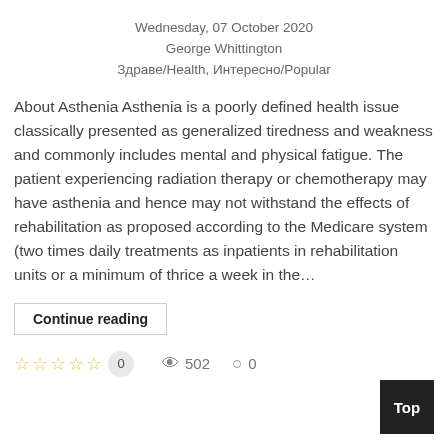Wednesday, 07 October 2020
George Whittington
Здраве/Health, Интересно/Popular
About Asthenia Asthenia is a poorly defined health issue classically presented as generalized tiredness and weakness and commonly includes mental and physical fatigue. The patient experiencing radiation therapy or chemotherapy may have asthenia and hence may not withstand the effects of rehabilitation as proposed according to the Medicare system (two times daily treatments as inpatients in rehabilitation units or a minimum of thrice a week in the...
Continue reading
☆☆☆☆☆  0   👁 502   💬 0